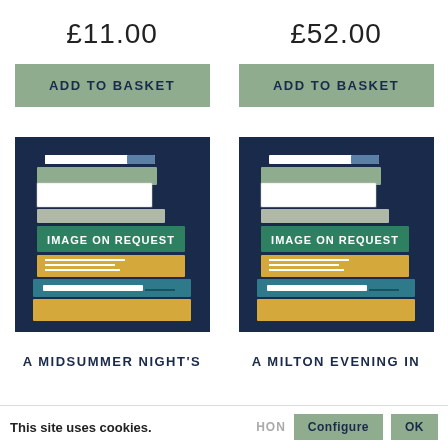£11.00
£52.00
ADD TO BASKET
ADD TO BASKET
[Figure (illustration): Book stack illustration with 'IMAGE ON REQUEST' label on dark navy background]
[Figure (illustration): Book stack illustration with 'IMAGE ON REQUEST' label on dark navy background]
A MIDSUMMER NIGHT'S
A MILTON EVENING IN
This site uses cookies.
Configure
OK